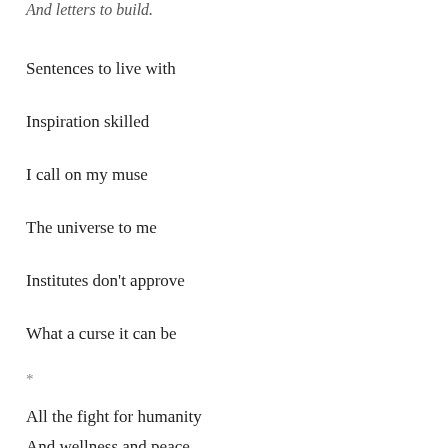And letters to build.
Sentences to live with
Inspiration skilled
I call on my muse
The universe to me
Institutes don't approve
What a curse it can be
*
All the fight for humanity
And wellness and peace